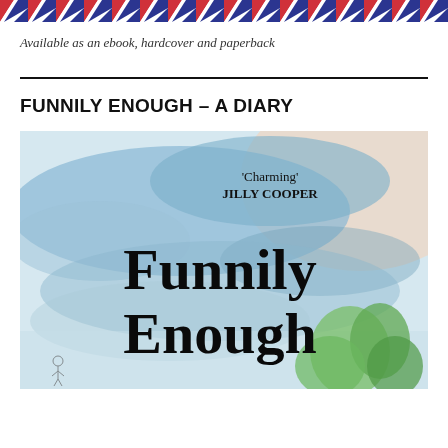[Figure (illustration): Diagonal red and navy blue striped airmail border pattern banner at the top of the page]
Available as an ebook, hardcover and paperback
FUNNILY ENOUGH – A DIARY
[Figure (photo): Book cover of 'Funnily Enough' with watercolour blue wash background. Text reads ''Charming' JILLY COOPER' at top and 'Funnily Enough' in large black serif font in the centre. Green painted tree shapes in bottom right corner and small illustrated figures at bottom left.]